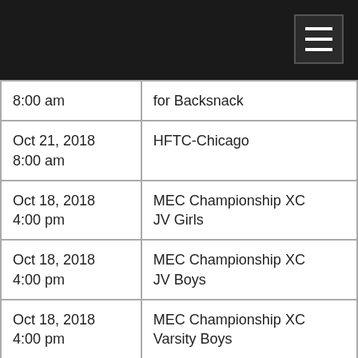| Date/Time | Event |
| --- | --- |
| 8:00 am | for Backsnack |
| Oct 21, 2018
8:00 am | HFTC-Chicago |
| Oct 18, 2018
4:00 pm | MEC Championship XC
JV Girls |
| Oct 18, 2018
4:00 pm | MEC Championship XC
JV Boys |
| Oct 18, 2018
4:00 pm | MEC Championship XC
Varsity Boys |
| Oct 18, 2018
4:00 pm | MEC Championship XC
Varsity Girls |